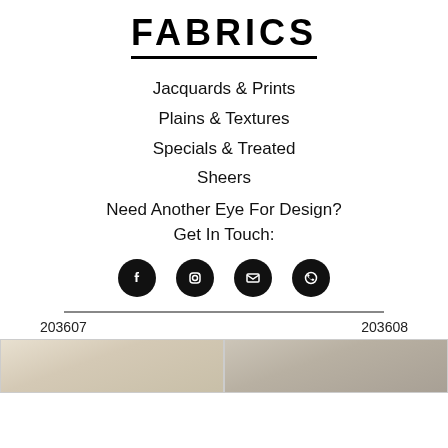FABRICS
Jacquards & Prints
Plains & Textures
Specials & Treated
Sheers
Need Another Eye For Design? Get In Touch:
[Figure (infographic): Four circular social media / contact icons: Facebook, Instagram, Email, WhatsApp]
203607
203608
[Figure (photo): Cream/ivory textured fabric swatch, product 203607]
[Figure (photo): Beige/taupe textured fabric swatch, product 203608]